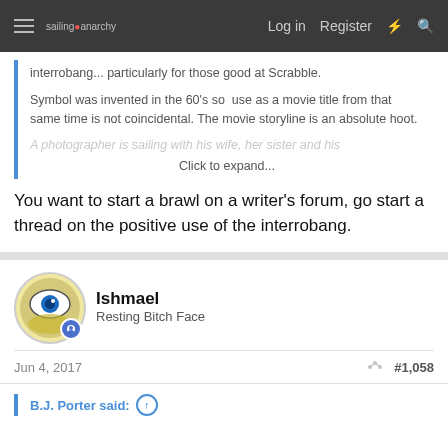sailing anarchy — Log in  Register
interrobang... particularly for those good at Scrabble.
Symbol was invented in the 60's so  use as a movie title from that same time is not coincidental. The movie storyline is an absolute hoot.
A photographer is sailing with his wife, her sister and his
Click to expand...
You want to start a brawl on a writer's forum, go start a thread on the positive use of the interrobang.
Ishmael
Resting Bitch Face
Jun 4, 2017
#1,058
B.J. Porter said: